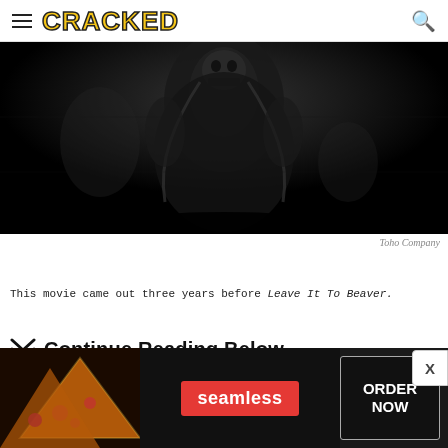CRACKED
[Figure (photo): Dark black and white still from a Godzilla film showing a large skeletal or monster figure looming in a dark scene]
Toho Company
This movie came out three years before Leave It To Beaver.
Continue Reading Below
[Figure (photo): Seamless food delivery advertisement banner showing pizza with ORDER NOW button]